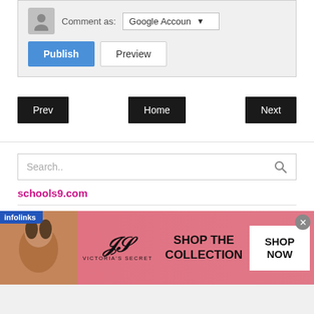[Figure (screenshot): Comment form UI with avatar, 'Comment as: Google Account' dropdown, Publish (blue) and Preview buttons on a light gray background]
[Figure (screenshot): Navigation buttons: Prev (left), Home (center), Next (right) — black rounded rectangles with white text]
[Figure (screenshot): Search box with placeholder text 'Search..' and a magnifying glass icon]
schools9.com
Schools9 Results
[Figure (screenshot): Victoria's Secret advertisement banner with model photo, VS logo, 'SHOP THE COLLECTION' text, and 'SHOP NOW' white button. Infolinks badge top-left, close (x) button top-right.]